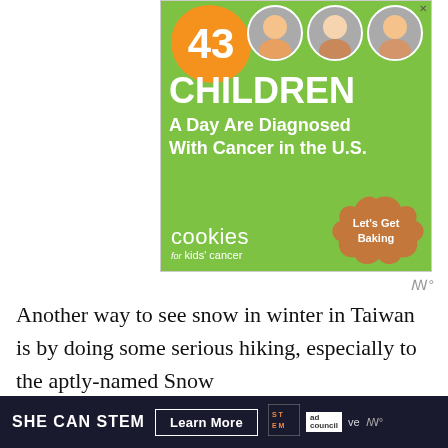[Figure (infographic): Advertisement banner for 'Cookies for Kids Cancer'. Green background with orange blob showing '43', three circular child photos, large text 'CHILDREN', subtitle 'A Day Are Diagnosed With Cancer in the U.S.', cookies for kids cancer logo, cookie image, and 'Let's Get Baking' call to action.]
Another way to see snow in winter in Taiwan is by doing some serious hiking, especially to the aptly-named Snow
[Figure (infographic): Bottom advertisement bar for 'SHE CAN STEM' campaign with 'Learn More' button, STEM logo, Ad Council logo, and Moat tracking icon on dark navy background.]